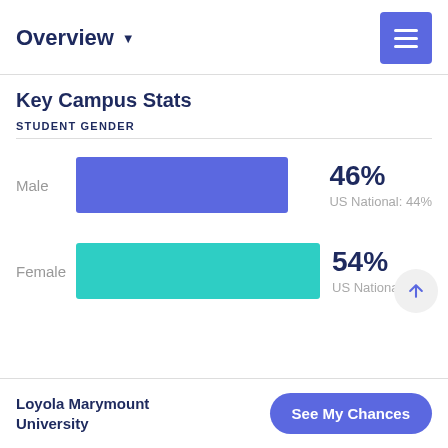Overview
Key Campus Stats
STUDENT GENDER
[Figure (bar-chart): Student Gender]
Loyola Marymount University  See My Chances